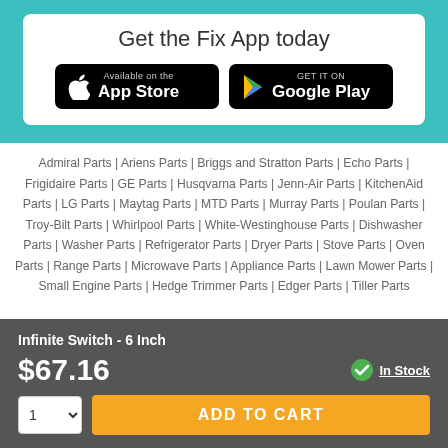Get the Fix App today
[Figure (logo): App Store and Google Play download buttons on a white card inside a teal banner]
Admiral Parts | Ariens Parts | Briggs and Stratton Parts | Echo Parts | Frigidaire Parts | GE Parts | Husqvarna Parts | Jenn-Air Parts | KitchenAid Parts | LG Parts | Maytag Parts | MTD Parts | Murray Parts | Poulan Parts | Troy-Bilt Parts | Whirlpool Parts | White-Westinghouse Parts | Dishwasher Parts | Washer Parts | Refrigerator Parts | Dryer Parts | Stove Parts | Oven Parts | Range Parts | Microwave Parts | Appliance Parts | Lawn Mower Parts | Small Engine Parts | Hedge Trimmer Parts | Edger Parts | Tiller Parts
Infinite Switch - 6 Inch
$67.16
In Stock
ADD TO CART